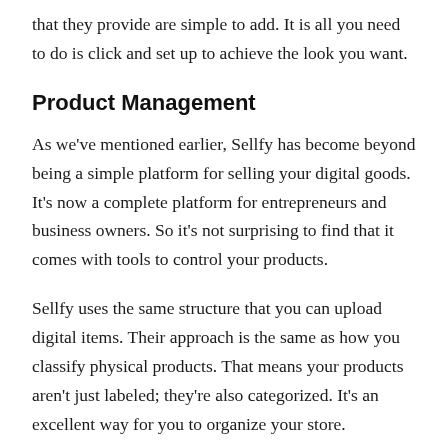that they provide are simple to add. It is all you need to do is click and set up to achieve the look you want.
Product Management
As we've mentioned earlier, Sellfy has become beyond being a simple platform for selling your digital goods. It's now a complete platform for entrepreneurs and business owners. So it's not surprising to find that it comes with tools to control your products.
Sellfy uses the same structure that you can upload digital items. Their approach is the same as how you classify physical products. That means your products aren't just labeled; they're also categorized. It's an excellent way for you to organize your store.
There's no limit on how many items you can offer as an incentive.